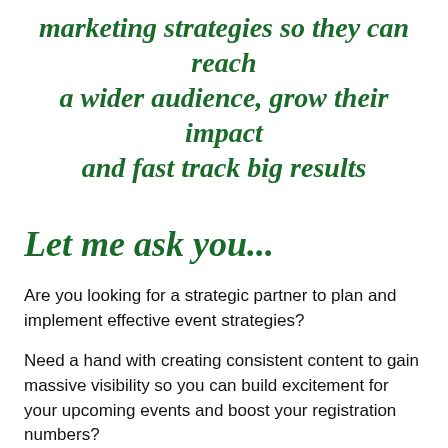marketing strategies so they can reach a wider audience, grow their impact and fast track big results
Let me ask you...
Are you looking for a strategic partner to plan and implement effective event strategies?
Need a hand with creating consistent content to gain massive visibility so you can build excitement for your upcoming events and boost your registration numbers?